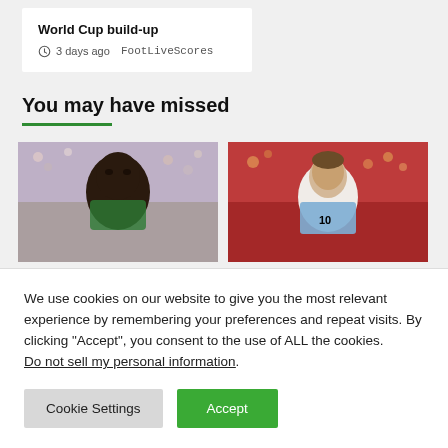World Cup build-up
3 days ago  FootLiveScores
You may have missed
[Figure (photo): Football player close-up with crowd in background]
[Figure (photo): Messi in Argentina jersey number 10 with crowd in background]
We use cookies on our website to give you the most relevant experience by remembering your preferences and repeat visits. By clicking “Accept”, you consent to the use of ALL the cookies.
Do not sell my personal information.